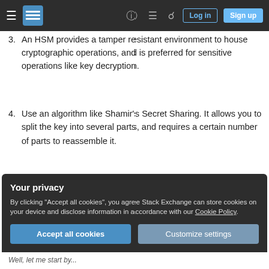Stack Exchange navigation bar with Log in and Sign up buttons
3. An HSM provides a tamper resistant environment to house cryptographic operations, and is preferred for sensitive operations like key decryption.
4. Use an algorithm like Shamir's Secret Sharing. It allows you to split the key into several parts, and requires a certain number of parts to reassemble it.
Share    edited Feb 25, 2014 at 20:02
Improve this answer
Your privacy
By clicking "Accept all cookies", you agree Stack Exchange can store cookies on your device and disclose information in accordance with our Cookie Policy.
Accept all cookies    Customize settings